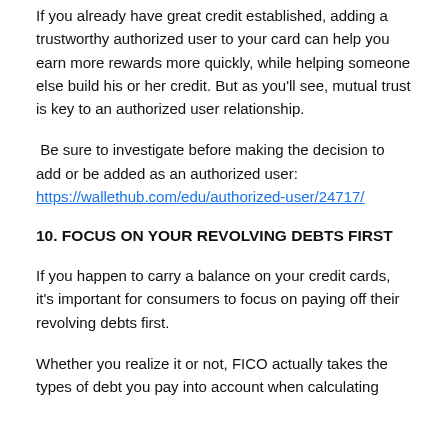If you already have great credit established, adding a trustworthy authorized user to your card can help you earn more rewards more quickly, while helping someone else build his or her credit. But as you'll see, mutual trust is key to an authorized user relationship.
Be sure to investigate before making the decision to add or be added as an authorized user: https://wallethub.com/edu/authorized-user/24717/
10. FOCUS ON YOUR REVOLVING DEBTS FIRST
If you happen to carry a balance on your credit cards, it's important for consumers to focus on paying off their revolving debts first.
Whether you realize it or not, FICO actually takes the types of debt you pay into account when calculating